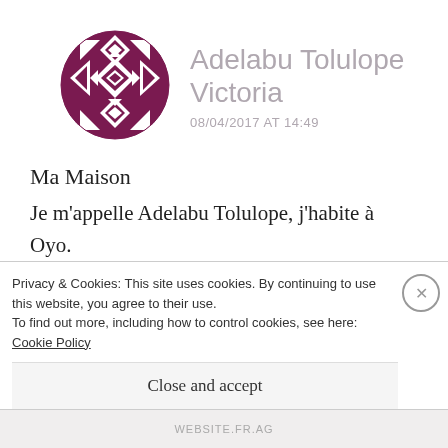[Figure (illustration): Circular avatar with geometric African-style pattern in dark purple/maroon and white diamonds and triangles]
Adelabu Tolulope Victoria
08/04/2017 AT 14:49
Ma Maison
Je m'appelle Adelabu Tolulope, j'habite à Oyo. Mon adresse est No 6, Ibukun oluwa street, Folatyre Area. C'est la deuxième maison sur la street. La couleur de Ma maison est vert et
Privacy & Cookies: This site uses cookies. By continuing to use this website, you agree to their use.
To find out more, including how to control cookies, see here: Cookie Policy
Close and accept
WEBSITE.FR.AG